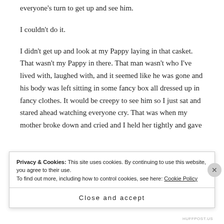everyone's turn to get up and see him.
I couldn't do it.
I didn't get up and look at my Pappy laying in that casket. That wasn't my Pappy in there. That man wasn't who I've lived with, laughed with, and it seemed like he was gone and his body was left sitting in some fancy box all dressed up in fancy clothes. It would be creepy to see him so I just sat and stared ahead watching everyone cry. That was when my mother broke down and cried and I held her tightly and gave
Privacy & Cookies: This site uses cookies. By continuing to use this website, you agree to their use. To find out more, including how to control cookies, see here: Cookie Policy
Close and accept